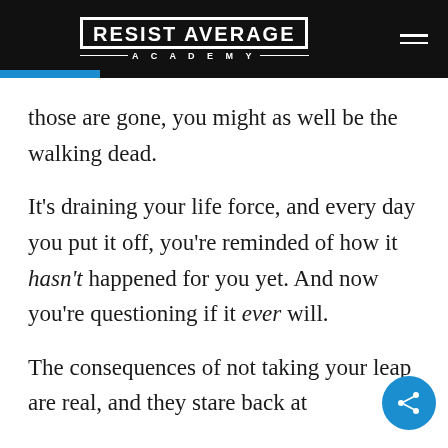RESIST AVERAGE ACADEMY
those are gone, you might as well be the walking dead.
It’s draining your life force, and every day you put it off, you’re reminded of how it hasn’t happened for you yet. And now you’re questioning if it ever will.
The consequences of not taking your leap are real, and they stare back at